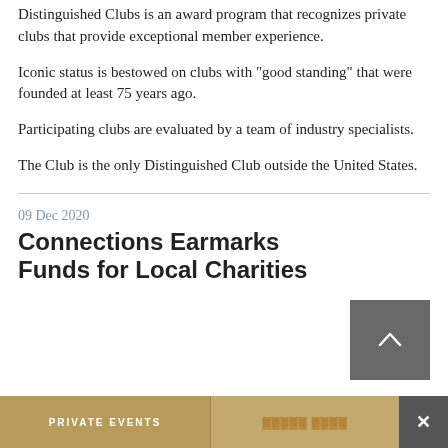Distinguished Clubs is an award program that recognizes private clubs that provide exceptional member experience.
Iconic status is bestowed on clubs with "good standing" that were founded at least 75 years ago.
Participating clubs are evaluated by a team of industry specialists.
The Club is the only Distinguished Club outside the United States.
09 Dec 2020
Connections Earmarks Funds for Local Charities
PRIVATE EVENTS
▓▓▓▓▓ ▓▓▓▓
×